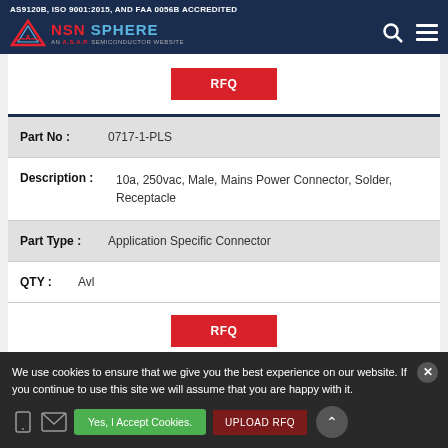AS9120B, ISO 9001:2015, AND FAA 0056B ACCREDITED
[Figure (logo): NSN Sphere logo — AN A.S.A.P. Semiconductor Website]
| Part No : | 0717-1-PLS |
| Description : | 10a, 250vac, Male, Mains Power Connector, Solder, Receptacle |
| Part Type : | Application Specific Connector |
| QTY : | Avl |
We use cookies to ensure that we give you the best experience on our website. If you continue to use this site we will assume that you are happy with it.